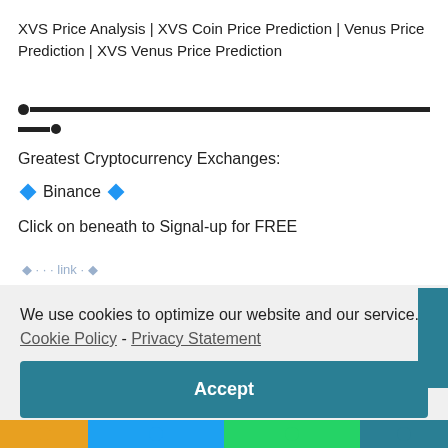XVS Price Analysis | XVS Coin Price Prediction | Venus Price Prediction | XVS Venus Price Prediction
[Figure (other): Progress bar with large dot on left and full-width dark bar]
[Figure (other): Short dark bar segment with small dot on right]
Greatest Cryptocurrency Exchanges:
◆ Binance ◆
Click on beneath to Signal-up for FREE
We use cookies to optimize our website and our service.  Cookie Policy - Privacy Statement
Accept